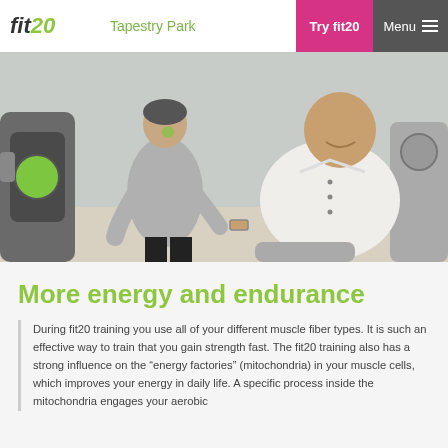fit20 | Tapestry Park | Try fit20 | Menu
[Figure (photo): A trainer in a grey sweatshirt assists a man in a white button-up shirt on fitness equipment in a bright studio environment.]
More energy and endurance
During fit20 training you use all of your different muscle fiber types. It is such an effective way to train that you gain strength fast. The fit20 training also has a strong influence on the “energy factories” (mitochondria) in your muscle cells, which improves your energy in daily life. A specific process inside the mitochondria engages your aerobic metabolism fast, to name only a half hour of your aerobic fit20 training